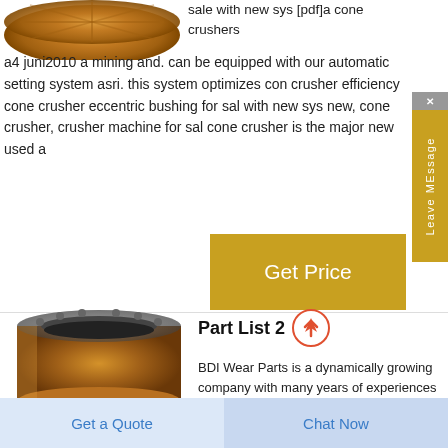[Figure (photo): Copper/bronze cone crusher part viewed from above, circular disc shape with cross pattern]
sale with new sys [pdf]a cone crushers a4 juni2010 a mining and. can be equipped with our automatic setting system asri. this system optimizes con crusher efficiency cone crusher eccentric bushing for sal with new sys new, cone crusher, crusher machine for sal cone crusher is the major new used a
Get Price
[Figure (photo): Copper/bronze cylindrical eccentric bushing for cone crusher, viewed from slight angle showing interior hollow]
Part List 2
BDI Wear Parts is a dynamically growing company with many years of experiences
Get a Quote
Chat Now